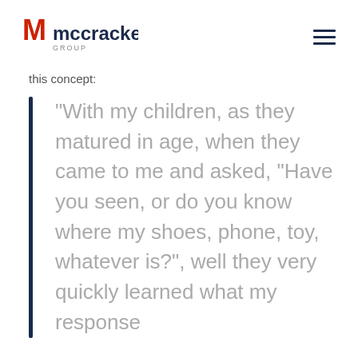McCracken Group logo and navigation menu
this concept:
“With my children, as they matured in age, when they came to me and asked, “Have you seen, or do you know where my shoes, phone, toy, whatever is?”, well they very quickly learned what my response